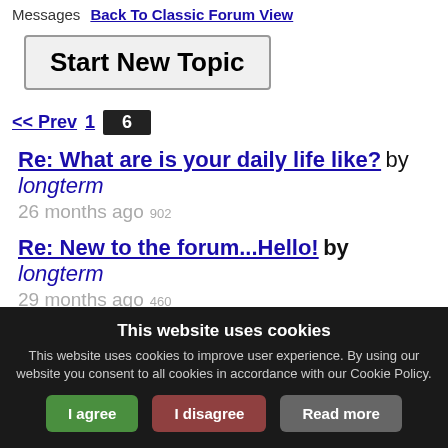Messages   Back To Classic Forum View
Start New Topic
<< Prev  1   6
Re: What are is your daily life like? by longterm  26 months ago  902
Re: New to the forum...Hello! by longterm  29 months ago  460
Re: Major DNA breakthrough...simple yet complex (h... by longterm  29 months  PPP Educational
This website uses cookies
This website uses cookies to improve user experience. By using our website you consent to all cookies in accordance with our Cookie Policy.
I agree  I disagree  Read more